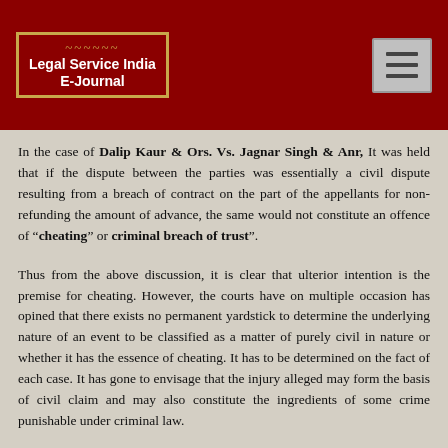[Figure (logo): Legal Service India E-Journal logo with gold border and ornamental details on dark red background]
In the case of Dalip Kaur & Ors. Vs. Jagnar Singh & Anr, It was held that if the dispute between the parties was essentially a civil dispute resulting from a breach of contract on the part of the appellants for non- refunding the amount of advance, the same would not constitute an offence of "cheating" or criminal breach of trust".
Thus from the above discussion, it is clear that ulterior intention is the premise for cheating. However, the courts have on multiple occasion has opined that there exists no permanent yardstick to determine the underlying nature of an event to be classified as a matter of purely civil in nature or whether it has the essence of cheating. It has to be determined on the fact of each case. It has gone to envisage that the injury alleged may form the basis of civil claim and may also constitute the ingredients of some crime punishable under criminal law.